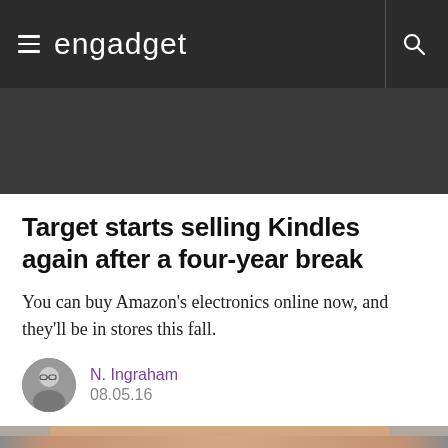engadget
[Figure (other): Dark promotional/advertisement banner area]
Target starts selling Kindles again after a four-year break
You can buy Amazon's electronics online now, and they'll be in stores this fall.
N. Ingraham
08.05.16
[Figure (photo): Partial photo of a person's face at the bottom of the page]